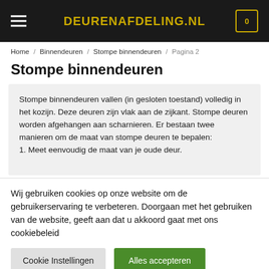DEURENAFDELING.NL
Home / Binnendeuren / Stompe binnendeuren / Pagina 2
Stompe binnendeuren
Stompe binnendeuren vallen (in gesloten toestand) volledig in het kozijn. Deze deuren zijn vlak aan de zijkant. Stompe deuren worden afgehangen aan scharnieren. Er bestaan twee manieren om de maat van stompe deuren te bepalen: 1. Meet eenvoudig de maat van je oude deur.
Wij gebruiken cookies op onze website om de gebruikerservaring te verbeteren. Doorgaan met het gebruiken van de website, geeft aan dat u akkoord gaat met ons cookiebeleid
Cookie Instellingen | Alles accepteren